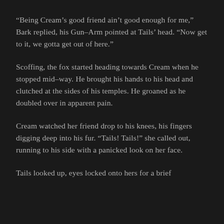“Being Cream’s good friend ain’t good enough for me,” Bark replied, his Gun-Arm pointed at Tails’ head. “Now get to it, we gotta get out of here.”
Scoffing, the fox started heading towards Cream when he stopped mid-way. He brought his hands to his head and clutched at the sides of his temples. He groaned as he doubled over in apparent pain.
Cream watched her friend drop to his knees, his fingers digging deep into his fur. “Tails! Tails!” she called out, running to his side with a panicked look on her face.
Tails looked up, eyes locked onto hers for a brief